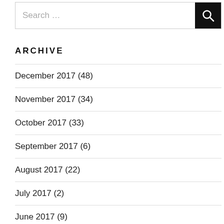[Figure (other): Search bar with text input showing 'Search …' placeholder and a black search button with magnifying glass icon]
ARCHIVE
December 2017 (48)
November 2017 (34)
October 2017 (33)
September 2017 (6)
August 2017 (22)
July 2017 (2)
June 2017 (9)
May 2017 (1)